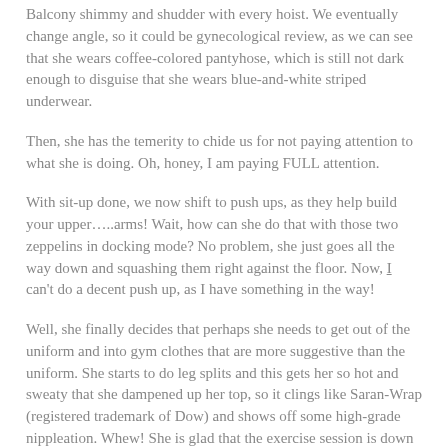Balcony shimmy and shudder with every hoist. We eventually change angle, so it could be gynecological review, as we can see that she wears coffee-colored pantyhose, which is still not dark enough to disguise that she wears blue-and-white striped underwear.
Then, she has the temerity to chide us for not paying attention to what she is doing. Oh, honey, I am paying FULL attention.
With sit-up done, we now shift to push ups, as they help build your upper…..arms! Wait, how can she do that with those two zeppelins in docking mode? No problem, she just goes all the way down and squashing them right against the floor. Now, I can't do a decent push up, as I have something in the way!
Well, she finally decides that perhaps she needs to get out of the uniform and into gym clothes that are more suggestive than the uniform. She starts to do leg splits and this gets her so hot and sweaty that she dampened up her top, so it clings like Saran-Wrap (registered trademark of Dow) and shows off some high-grade nippleation. Whew! She is glad that the exercise session is down and we worked up a good sweat.
Now, are there going to be more episodes? Yes there is. Episode Two has